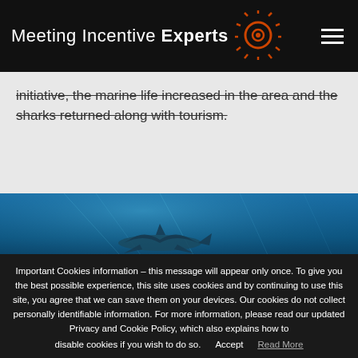Meeting Incentive Experts
initiative, the marine life increased in the area and the sharks returned along with tourism.
[Figure (photo): Underwater scene with a shark or ray silhouette in blue ocean water]
Important Cookies information – this message will appear only once. To give you the best possible experience, this site uses cookies and by continuing to use this site, you agree that we can save them on your devices. Our cookies do not collect personally identifiable information. For more information, please read our updated Privacy and Cookie Policy, which also explains how to disable cookies if you wish to do so.   Accept   Read More